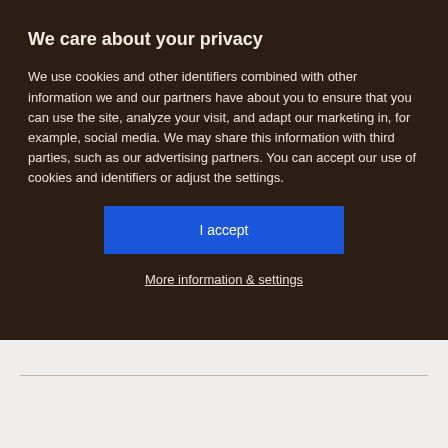We care about your privacy
We use cookies and other identifiers combined with other information we and our partners have about you to ensure that you can use the site, analyze your visit, and adapt our marketing in, for example, social media. We may share this information with third parties, such as our advertising partners. You can accept our use of cookies and identifiers or adjust the settings.
I accept
More information & settings
Cookies